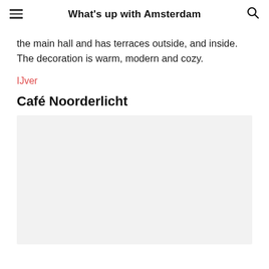What's up with Amsterdam
the main hall and has terraces outside, and inside. The decoration is warm, modern and cozy.
IJver
Café Noorderlicht
[Figure (photo): Image placeholder area (light gray box) below the Café Noorderlicht heading]